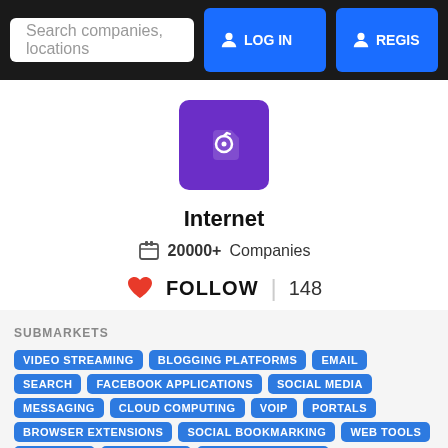Search companies, locations   LOG IN   REGIS
[Figure (logo): Purple square icon with white price tag symbol]
Internet
20000+ Companies
FOLLOW  |  148
SUBMARKETS
VIDEO STREAMING
BLOGGING PLATFORMS
EMAIL
SEARCH
FACEBOOK APPLICATIONS
SOCIAL MEDIA
MESSAGING
CLOUD COMPUTING
VOIP
PORTALS
BROWSER EXTENSIONS
SOCIAL BOOKMARKING
WEB TOOLS
PAYMENTS
DATABASES
SEMANTIC SEARCH
MOBILE PAYMENTS
WEB HOSTING
WEB DEVELOPMENT
TWITTER APPLICATIONS
DEVELOPER APIS
EDISCOVERY
SAAS
WEB CMS
REAL TIME
WEB DESIGN
SOCIAL MEDIA MARKETING